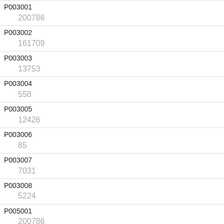| ID | Value |
| --- | --- |
| P003001 | 200786 |
| P003002 | 161709 |
| P003003 | 13753 |
| P003004 | 558 |
| P003005 | 12426 |
| P003006 | 85 |
| P003007 | 7031 |
| P003008 | 5224 |
| P005001 | 200786 |
| P005002 | 180761 |